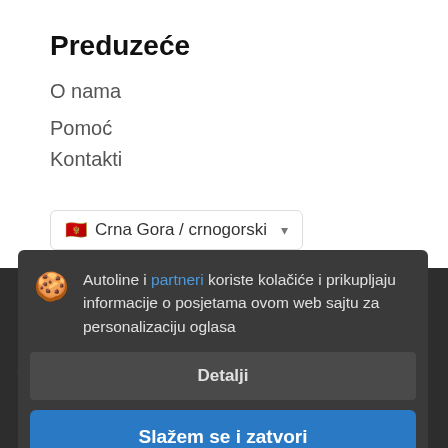Preduzeće
O nama
Pomoć
Kontakti
🇲🇪 Crna Gora / crnogorski ▾
Autoline i partneri koriste kolačiće i prikupljaju informacije o posjetama ovom web sajtu za personalizaciju oglasa
Detalji
Slažem se i zatvori